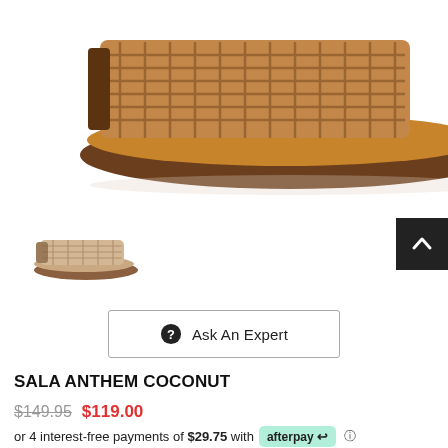[Figure (photo): Close-up product photo of a tan woven leather slide sandal with brown sole, shot from above on white background]
[Figure (photo): Small thumbnail of the same slide sandal in a lighter beige/coconut color, side view]
Ask An Expert
SALA ANTHEM COCONUT
$149.95  $119.00
or 4 interest-free payments of $29.75 with afterpay